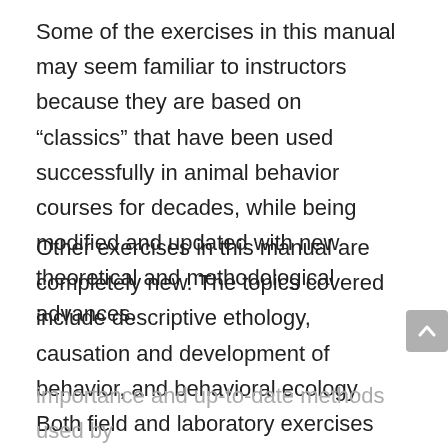Some of the exercises in this manual may seem familiar to instructors because they are based on “classics” that have been used successfully in animal behavior courses for decades, while being modified and updated with new theoretical and methodological advances.
Other exercises in this manual are completely new. The topics covered include descriptive ethology, causation and development of behavior, and behavioral ecology. Both field and laboratory exercises are included on a broad variety of taxonomic groups: arthropods, fish, amphibians, reptiles, birds, and mammals, including humans. Exercises illustrate issues of current theoretical
importance and up-to-date methods used by